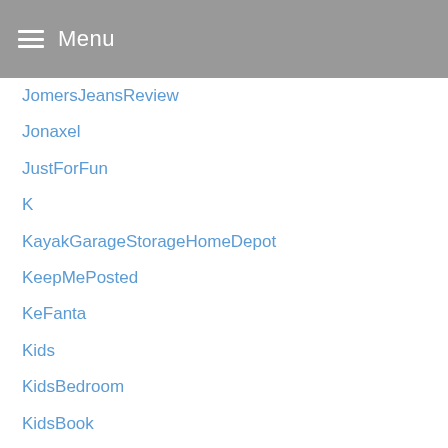Menu
JomersJeansReview
Jonaxel
JustForFun
K
KayakGarageStorageHomeDepot
KeepMePosted
KeFanta
Kids
KidsBedroom
KidsBook
KidsDecor
KidsEventsInDelawareCounty
KidsRoom
Kinder
Kinderm
Kitchen
KitchenDesign